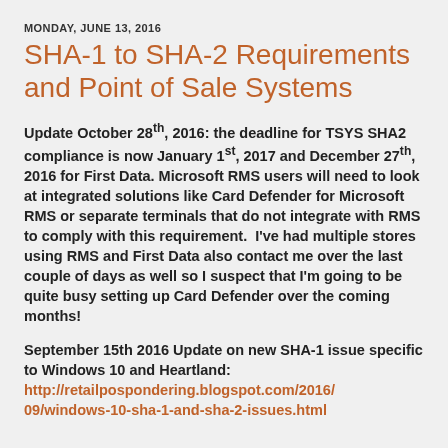MONDAY, JUNE 13, 2016
SHA-1 to SHA-2 Requirements and Point of Sale Systems
Update October 28th, 2016: the deadline for TSYS SHA2 compliance is now January 1st, 2017 and December 27th, 2016 for First Data. Microsoft RMS users will need to look at integrated solutions like Card Defender for Microsoft RMS or separate terminals that do not integrate with RMS to comply with this requirement.  I've had multiple stores using RMS and First Data also contact me over the last couple of days as well so I suspect that I'm going to be quite busy setting up Card Defender over the coming months!
September 15th 2016 Update on new SHA-1 issue specific to Windows 10 and Heartland: http://retailpospondering.blogspot.com/2016/09/windows-10-sha-1-and-sha-2-issues.html